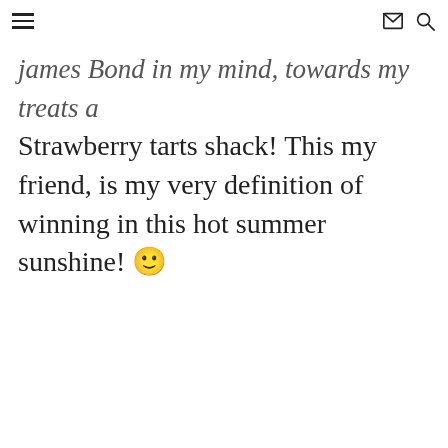[hamburger menu] [mail icon] [search icon]
james Bond in my mind, towards my treats a Strawberry tarts shack! This my friend, is my very definition of winning in this hot summer sunshine! 🙂